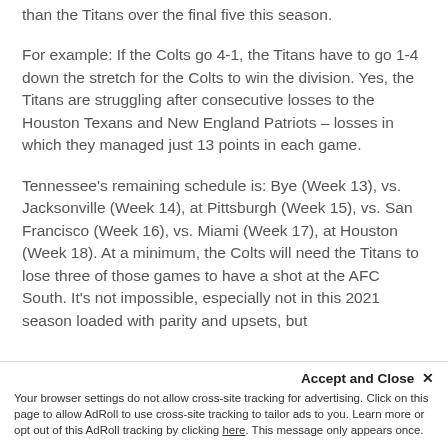than the Titans over the final five this season.
For example: If the Colts go 4-1, the Titans have to go 1-4 down the stretch for the Colts to win the division. Yes, the Titans are struggling after consecutive losses to the Houston Texans and New England Patriots – losses in which they managed just 13 points in each game.
Tennessee's remaining schedule is: Bye (Week 13), vs. Jacksonville (Week 14), at Pittsburgh (Week 15), vs. San Francisco (Week 16), vs. Miami (Week 17), at Houston (Week 18). At a minimum, the Colts will need the Titans to lose three of those games to have a shot at the AFC South. It's not impossible, especially not in this 2021 season loaded with parity and upsets, but
Accept and Close ✕
Your browser settings do not allow cross-site tracking for advertising. Click on this page to allow AdRoll to use cross-site tracking to tailor ads to you. Learn more or opt out of this AdRoll tracking by clicking here. This message only appears once.